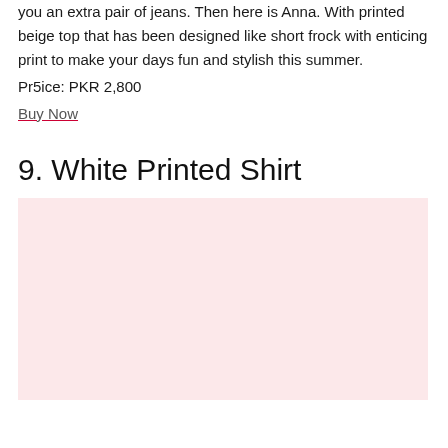you an extra pair of jeans. Then here is Anna. With printed beige top that has been designed like short frock with enticing print to make your days fun and stylish this summer.
Pr5ice: PKR 2,800
Buy Now
9. White Printed Shirt
[Figure (photo): Light pink/blush colored placeholder image area for White Printed Shirt product photo]